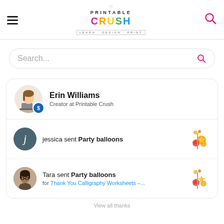[Figure (logo): Printable Crush logo with hamburger menu and search icon in header]
[Figure (screenshot): Search bar with placeholder text Search...]
Erin Williams
Creator at Printable Crush
jessica sent Party balloons
Tara sent Party balloons
for Thank You Calligraphy Worksheets –...